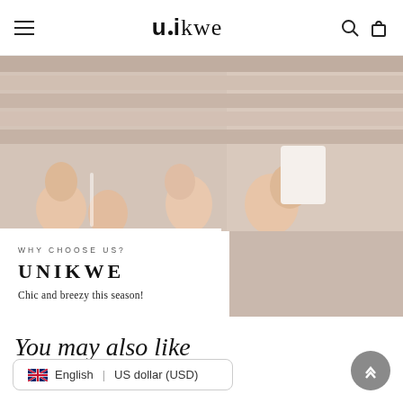unikwe - navigation bar with hamburger menu, logo, search and cart icons
[Figure (photo): Two people sitting on wooden planks at the beach, showing legs and knees, warm skin tones, bright natural light]
WHY CHOOSE US?
UNIKWE
Chic and breezy this season!
You may also like
🇬🇧 English | US dollar (USD)